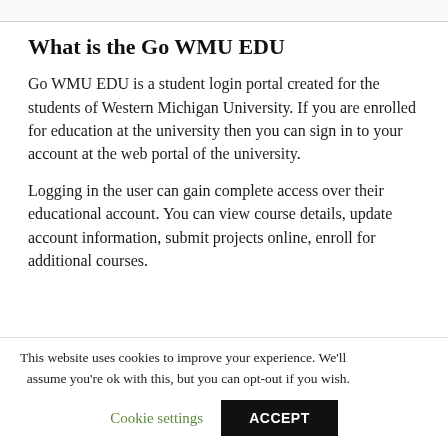What is the Go WMU EDU
Go WMU EDU is a student login portal created for the students of Western Michigan University. If you are enrolled for education at the university then you can sign in to your account at the web portal of the university.
Logging in the user can gain complete access over their educational account. You can view course details, update account information, submit projects online, enroll for additional courses.
This website uses cookies to improve your experience. We'll assume you're ok with this, but you can opt-out if you wish.
Cookie settings   ACCEPT